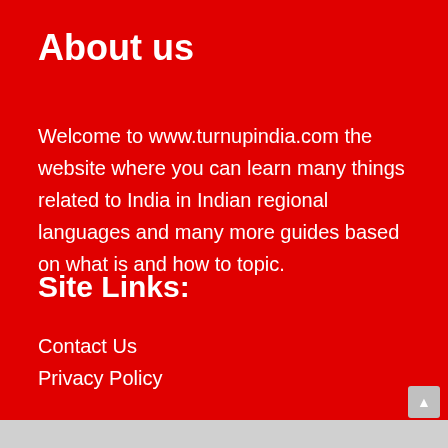About us
Welcome to www.turnupindia.com the website where you can learn many things related to India in Indian regional languages and many more guides based on what is and how to topic.
Site Links:
Contact Us
Privacy Policy